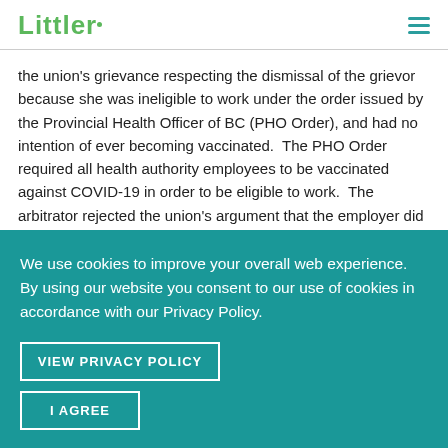Littler
the union's grievance respecting the dismissal of the grievor because she was ineligible to work under the order issued by the Provincial Health Officer of BC (PHO Order), and had no intention of ever becoming vaccinated.  The PHO Order required all health authority employees to be vaccinated against COVID-19 in order to be eligible to work.  The arbitrator rejected the union's argument that the employer did not have just and reasonable
We use cookies to improve your overall web experience. By using our website you consent to our use of cookies in accordance with our Privacy Policy.
VIEW PRIVACY POLICY
I AGREE